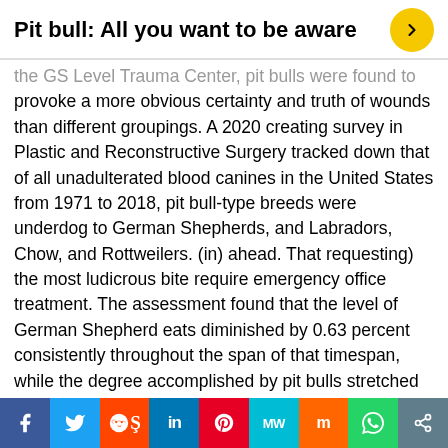Pit bull: All you want to be aware
the GS Level Trauma Center, pit bulls were found to provoke a more obvious certainty and truth of wounds than different groupings. A 2020 creating survey in Plastic and Reconstructive Surgery tracked down that of all unadulterated blood canines in the United States from 1971 to 2018, pit bull-type breeds were underdog to German Shepherds, and Labradors, Chow, and Rottweilers. (in) ahead. That requesting) the most ludicrous bite require emergency office treatment. The assessment found that the level of German Shepherd eats diminished by 0.63 percent consistently throughout the span of that timespan, while the degree accomplished by pit bulls stretched out by 1.17 percent consistently. pit bull anup